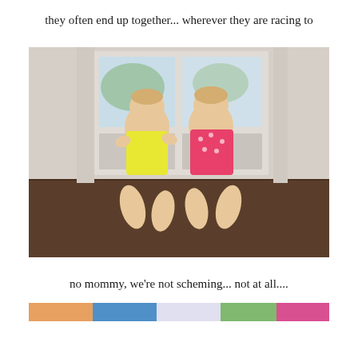they often end up together... wherever they are racing to
[Figure (photo): Two toddler girls sitting back-to-back on a hardwood floor in front of a glass door/window. The left child wears a yellow outfit and the right child wears a pink polka-dot outfit. Both have light hair and are holding their hands near their faces with thoughtful or mischievous expressions.]
no mommy, we're not scheming... not at all....
[Figure (photo): Partial view of another photo at the bottom of the page, showing colorful clothing or objects, cropped.]